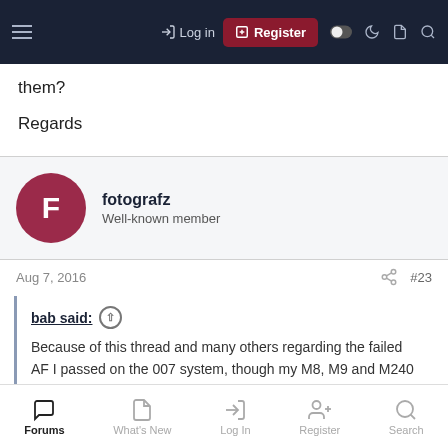Log in | Register | [icons]
them?
Regards
fotografz
Well-known member
Aug 7, 2016  #23
bab said:
Because of this thread and many others regarding the failed AF I passed on the 007 system, though my M8, M9 and M240 with three lenses luckily have never needed any service. I had two of the thre camera corrected for focusing by local technicians because of the
Forums | What's New | Log In | Register | Search